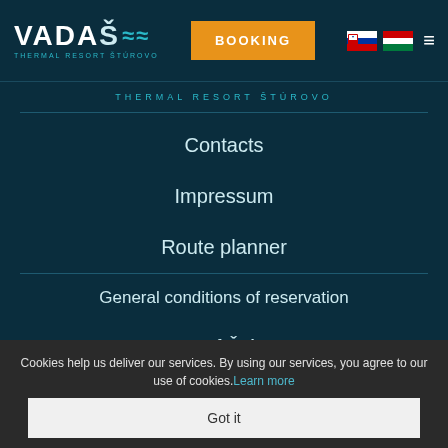VADAŠ Thermal Resort Štúrovo — BOOKING
Thermal Resort Štúrovo
Contacts
Impressum
Route planner
General conditions of reservation
Town of Štúrovo
[Figure (other): Social media icons: Facebook, Instagram, TripAdvisor]
Cookies help us deliver our services. By using our services, you agree to our use of cookies. Learn more
Got it